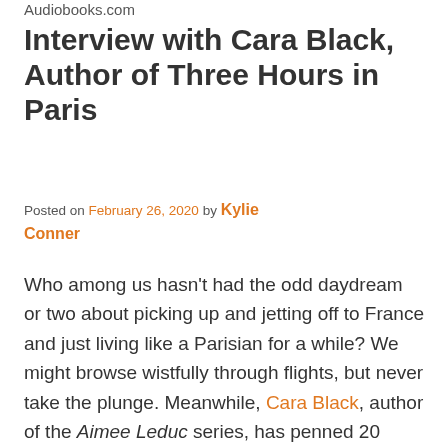Audiobooks.com
Interview with Cara Black, Author of Three Hours in Paris
Posted on February 26, 2020 by Kylie Conner
Who among us hasn't had the odd daydream or two about picking up and jetting off to France and just living like a Parisian for a while? We might browse wistfully through flights, but never take the plunge. Meanwhile, Cara Black, author of the Aimee Leduc series, has penned 20 novels that are set in this cultural hotbed including her latest standalone, Three